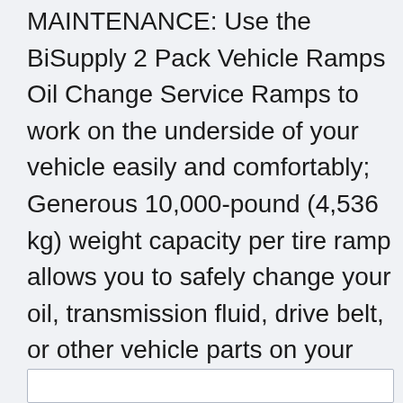MAINTENANCE: Use the BiSupply 2 Pack Vehicle Ramps Oil Change Service Ramps to work on the underside of your vehicle easily and comfortably; Generous 10,000-pound (4,536 kg) weight capacity per tire ramp allows you to safely change your oil, transmission fluid, drive belt, or other vehicle parts on your cars, pickups, SUVs, and vans; Coming in at 19.5 pounds each (8.8 kg), these car jack ramps are designed for easy transportation
Additional Info: